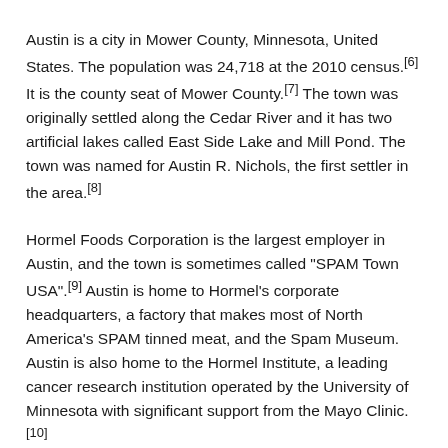Austin is a city in Mower County, Minnesota, United States. The population was 24,718 at the 2010 census.[6] It is the county seat of Mower County.[7] The town was originally settled along the Cedar River and it has two artificial lakes called East Side Lake and Mill Pond. The town was named for Austin R. Nichols, the first settler in the area.[8]
Hormel Foods Corporation is the largest employer in Austin, and the town is sometimes called "SPAM Town USA".[9] Austin is home to Hormel's corporate headquarters, a factory that makes most of North America's SPAM tinned meat, and the Spam Museum. Austin is also home to the Hormel Institute, a leading cancer research institution operated by the University of Minnesota with significant support from the Mayo Clinic.[10]
Fertile land, trapping, and ease of access brought first ...